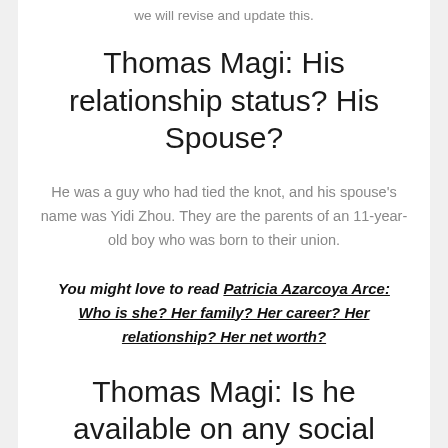we will revise and update this.
Thomas Magi: His relationship status? His Spouse?
He was a guy who had tied the knot, and his spouse's name was Yidi Zhou. They are the parents of an 11-year-old boy who was born to their union.
You might love to read Patricia Azarcoya Arce: Who is she? Her family? Her career? Her relationship? Her net worth?
Thomas Magi: Is he available on any social media platform?